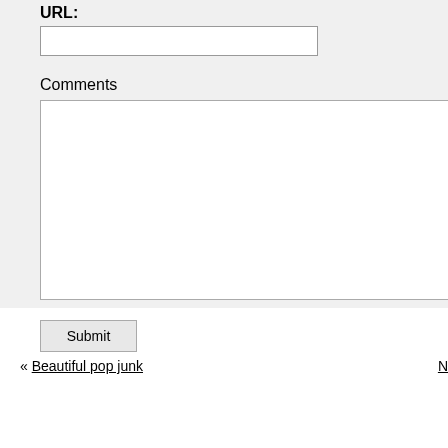URL:
Comments
Submit
« Beautiful pop junk
N»